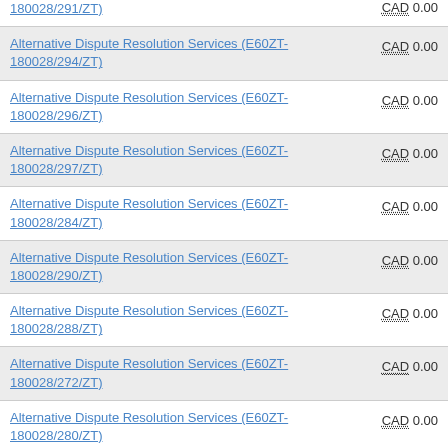| Service | Amount |
| --- | --- |
| Alternative Dispute Resolution Services (E60ZT-180028/291/ZT) | CAD 0.00 |
| Alternative Dispute Resolution Services (E60ZT-180028/294/ZT) | CAD 0.00 |
| Alternative Dispute Resolution Services (E60ZT-180028/296/ZT) | CAD 0.00 |
| Alternative Dispute Resolution Services (E60ZT-180028/297/ZT) | CAD 0.00 |
| Alternative Dispute Resolution Services (E60ZT-180028/284/ZT) | CAD 0.00 |
| Alternative Dispute Resolution Services (E60ZT-180028/290/ZT) | CAD 0.00 |
| Alternative Dispute Resolution Services (E60ZT-180028/288/ZT) | CAD 0.00 |
| Alternative Dispute Resolution Services (E60ZT-180028/272/ZT) | CAD 0.00 |
| Alternative Dispute Resolution Services (E60ZT-180028/280/ZT) | CAD 0.00 |
| Alternative Dispute Resolution Services (E60ZT-180028/298/ZT) | CAD 0.00 |